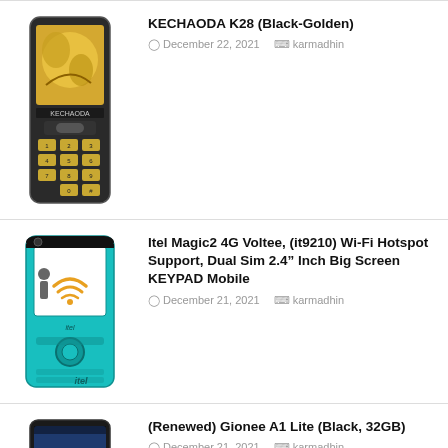[Figure (photo): KECHAODA K28 feature phone, black and gold color, front view showing keypad and screen]
KECHAODA K28 (Black-Golden)
December 22, 2021   karmadhin
[Figure (photo): Itel Magic2 4G feature phone in teal/cyan color, front view showing keypad and screen]
Itel Magic2 4G Voltee, (it9210) Wi-Fi Hotspot Support, Dual Sim 2.4" Inch Big Screen KEYPAD Mobile
December 21, 2021   karmadhin
[Figure (photo): Gionee A1 Lite smartphone in black color, partial view]
(Renewed) Gionee A1 Lite (Black, 32GB)
December 21, 2021   karmadhin